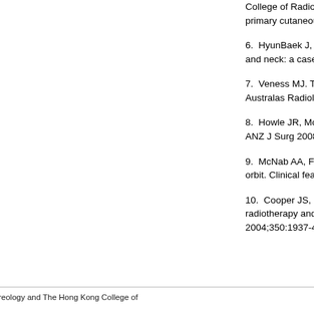College of Radiologists, Faculty... primary cutaneous squamous...
6.  HyunBaek J, Abu-Serriah... and neck: a case report. J Ora...
7.  Veness MJ. Treatment rec... Australas Radiol 2005;49:365...
8.  Howle JR, Morgan GJ, Kal... ANZ J Surg 2008;78:449-53.
9.  McNab AA, Francis IC, Be... orbit. Clinical features and out...
10.  Cooper JS, Pajak TF, P... radiotherapy and chemother... 2004;350:1937-44.
[Figure (other): Printer Friendly Version button — dark purple/violet rectangular button with white bold text]
©2022 The Hong Kong Society of Dermatology & Venereology and The Hong Kong College of... Developed and maintained by Medcom Limited.